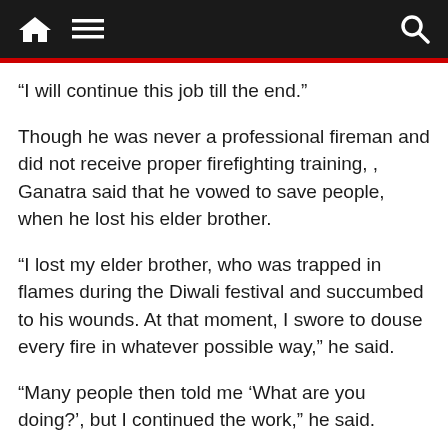Navigation bar with home, menu, and search icons
“I will continue this job till the end.”
Though he was never a professional fireman and did not receive proper firefighting training, , Ganatra said that he vowed to save people, when he lost his elder brother.
“I lost my elder brother, who was trapped in flames during the Diwali festival and succumbed to his wounds. At that moment, I swore to douse every fire in whatever possible way,” he said.
“Many people then told me ‘What are you doing?’, but I continued the work,” he said.
Other than dousing the flames, Ganatra has also rescued people and even cleaned up the debris